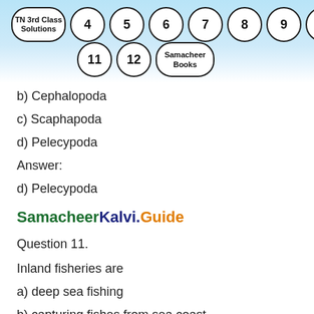[Figure (other): Navigation header banner with TN 3rd Class Solutions label and numbered circles: 4, 5, 6, 7, 8, 9, 10, 11, 12, Samacheer Books on a light blue gradient background]
b) Cephalopoda
c) Scaphapoda
d) Pelecypoda
Answer:
d) Pelecypoda
SamacheerKalvi.Guide
Question 11.
Inland fisheries are
a) deep sea fishing
b) capturing fishes from sea coast